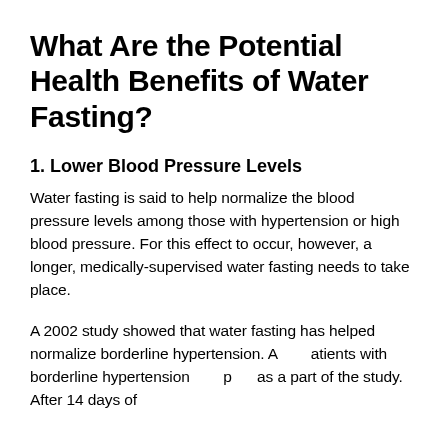What Are the Potential Health Benefits of Water Fasting?
1. Lower Blood Pressure Levels
Water fasting is said to help normalize the blood pressure levels among those with hypertension or high blood pressure. For this effect to occur, however, a longer, medically-supervised water fasting needs to take place.
A 2002 study showed that water fasting has helped normalize borderline hypertension. A [group of] patients with borderline hypertension [took] part as a part of the study. After 14 days of